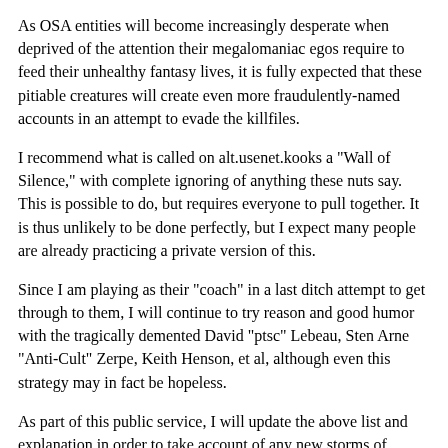As OSA entities will become increasingly desperate when deprived of the attention their megalomaniac egos require to feed their unhealthy fantasy lives, it is fully expected that these pitiable creatures will create even more fraudulently-named accounts in an attempt to evade the killfiles.
I recommend what is called on alt.usenet.kooks a "Wall of Silence," with complete ignoring of anything these nuts say. This is possible to do, but requires everyone to pull together. It is thus unlikely to be done perfectly, but I expect many people are already practicing a private version of this.
Since I am playing as their "coach" in a last ditch attempt to get through to them, I will continue to try reason and good humor with the tragically demented David "ptsc" Lebeau, Sten Arne "Anti-Cult" Zerpe, Keith Henson, et al, although even this strategy may in fact be hopeless.
As part of this public service, I will update the above list and explanation in order to take account of any new storms of fraudulent accounts, or to suggest strings to be used in a killfile to kill any new spam postings from purely anonymous remailers which repeat standard OSA insanity. Alternately I will cease posting this list with a cessation of completely insane behavior on the part of "ptsc", "Anti-Cult" and the many others, although this